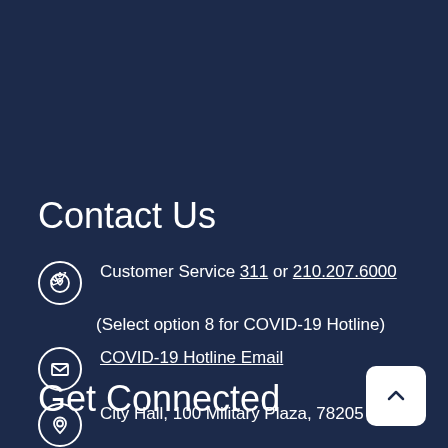Contact Us
Customer Service 311 or 210.207.6000
(Select option 8 for COVID-19 Hotline)
COVID-19 Hotline Email
City Hall, 100 Military Plaza, 78205
Get Connected